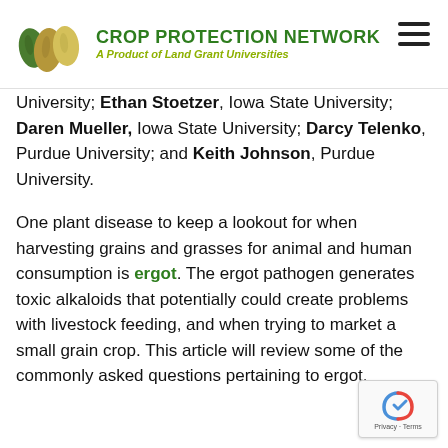[Figure (logo): Crop Protection Network logo with seed icons and text 'CROP PROTECTION NETWORK - A Product of Land Grant Universities']
University; Ethan Stoetzer, Iowa State University; Daren Mueller, Iowa State University; Darcy Telenko, Purdue University; and Keith Johnson, Purdue University.
One plant disease to keep a lookout for when harvesting grains and grasses for animal and human consumption is ergot. The ergot pathogen generates toxic alkaloids that potentially could create problems with livestock feeding, and when trying to market a small grain crop. This article will review some of the commonly asked questions pertaining to ergot.